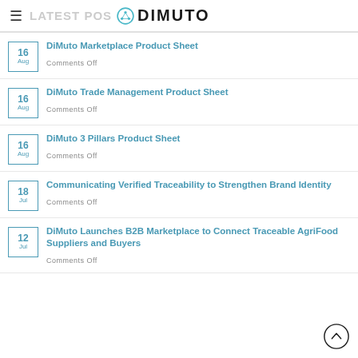LATEST POSTS — DIMUTO
16 Aug — DiMuto Marketplace Product Sheet — Comments Off
16 Aug — DiMuto Trade Management Product Sheet — Comments Off
16 Aug — DiMuto 3 Pillars Product Sheet — Comments Off
18 Jul — Communicating Verified Traceability to Strengthen Brand Identity — Comments Off
12 Jul — DiMuto Launches B2B Marketplace to Connect Traceable AgriFood Suppliers and Buyers — Comments Off